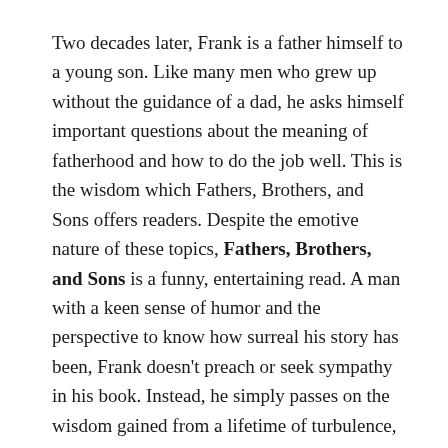Two decades later, Frank is a father himself to a young son. Like many men who grew up without the guidance of a dad, he asks himself important questions about the meaning of fatherhood and how to do the job well. This is the wisdom which Fathers, Brothers, and Sons offers readers. Despite the emotive nature of these topics, Fathers, Brothers, and Sons is a funny, entertaining read. A man with a keen sense of humor and the perspective to know how surreal his story has been, Frank doesn't preach or seek sympathy in his book. Instead, he simply passes on the wisdom gained from a lifetime of turbulence, paying tribute to his loved ones in a way that will resonate with us all.
Frank Bello is an American musician, most notable as bassist for the legendary thrash metal band Anthrax. On